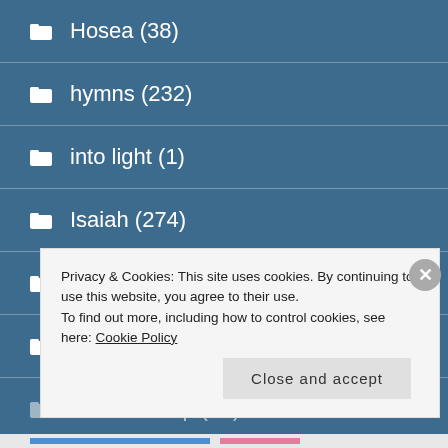Hosea (38)
hymns (232)
into light (1)
Isaiah (274)
James (34)
James McCosh (1)
James Philip (21)
Privacy & Cookies: This site uses cookies. By continuing to use this website, you agree to their use.
To find out more, including how to control cookies, see here: Cookie Policy
Close and accept